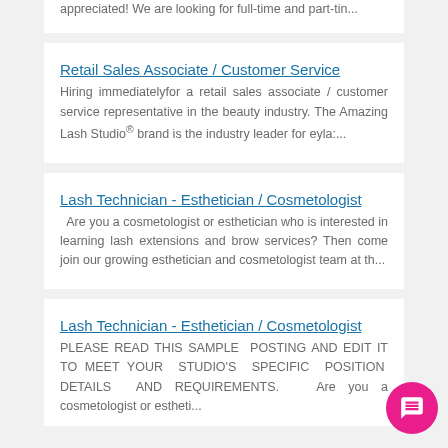appreciated! We are looking for full-time and part-tin...
Retail Sales Associate / Customer Service
Hiring immediatelyfor a retail sales associate / customer service representative in the beauty industry. The Amazing Lash Studio® brand is the industry leader for eyla:...
Lash Technician - Esthetician / Cosmetologist
Are you a cosmetologist or esthetician who is interested in learning lash extensions and brow services? Then come join our growing esthetician and cosmetologist team at th...
Lash Technician - Esthetician / Cosmetologist
PLEASE READ THIS SAMPLE POSTING AND EDIT IT TO MEET YOUR STUDIO'S SPECIFIC POSITION DETAILS AND REQUIREMENTS. Are you a cosmetologist or estheti...